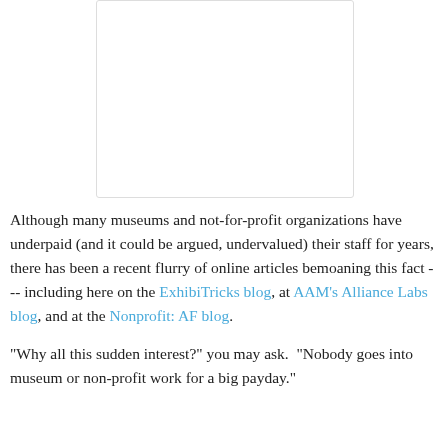[Figure (other): White rectangular image placeholder with light gray border]
Although many museums and not-for-profit organizations have underpaid (and it could be argued, undervalued) their staff for years, there has been a recent flurry of online articles bemoaning this fact --- including here on the ExhibiTricks blog, at AAM's Alliance Labs blog, and at the Nonprofit: AF blog.
"Why all this sudden interest?" you may ask.  "Nobody goes into museum or non-profit work for a big payday."